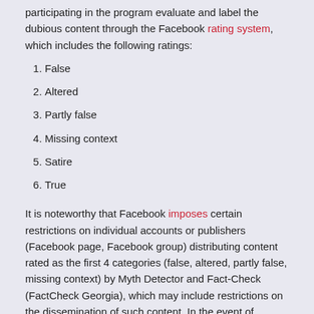participating in the program evaluate and label the dubious content through the Facebook rating system, which includes the following ratings:
1. False
2. Altered
3. Partly false
4. Missing context
5. Satire
6. True
It is noteworthy that Facebook imposes certain restrictions on individual accounts or publishers (Facebook page, Facebook group) distributing content rated as the first 4 categories (false, altered, partly false, missing context) by Myth Detector and Fact-Check (FactCheck Georgia), which may include restrictions on the dissemination of such content. In the event of repeated identical infringement by the same publishers, Facebook may take additional measures: reduce distribution and reach of the mentioned publisher, limit the ability of advertising and